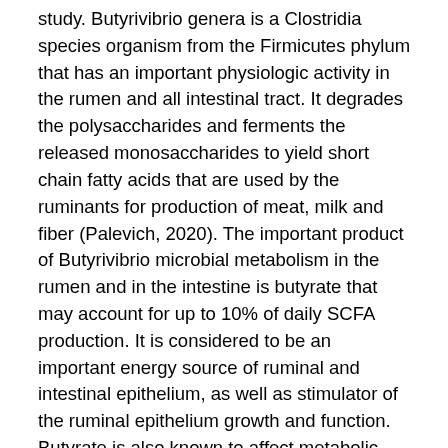study. Butyrivibrio genera is a Clostridia species organism from the Firmicutes phylum that has an important physiologic activity in the rumen and all intestinal tract. It degrades the polysaccharides and ferments the released monosaccharides to yield short chain fatty acids that are used by the ruminants for production of meat, milk and fiber (Palevich, 2020). The important product of Butyrivibrio microbial metabolism in the rumen and in the intestine is butyrate that may account for up to 10% of daily SCFA production. It is considered to be an important energy source of ruminal and intestinal epithelium, as well as stimulator of the ruminal epithelium growth and function. Butyrate is also known to affect metabolic activity of the ruminal epithelium, abundance of transcripts of proteins mediating SCFA absorption, epithelial blood flow and rumen motility. It was also shown to exert a trophic and antiinflammatory effect on stomach and intestinal mucosa (Palevich, 2020).